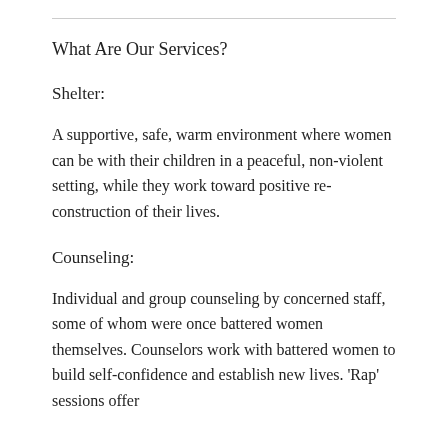What Are Our Services?
Shelter:
A supportive, safe, warm environment where women can be with their children in a peaceful, non-violent setting, while they work toward positive re-construction of their lives.
Counseling:
Individual and group counseling by concerned staff, some of whom were once battered women themselves. Counselors work with battered women to build self-confidence and establish new lives. 'Rap' sessions offer opportunities for women to express and feel...